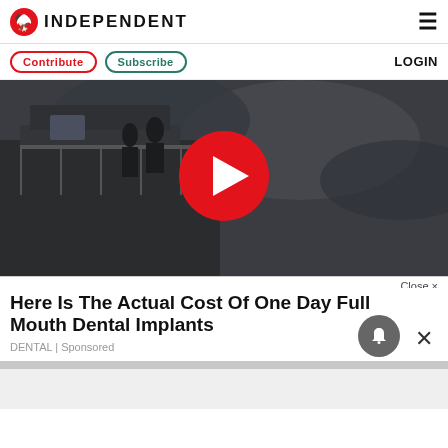INDEPENDENT
Contribute   Subscribe   LOGIN
[Figure (screenshot): Video thumbnail: dark scene of a tower/lighthouse balcony with people standing on it against a grey stormy sky. Large red circle play button in the center.]
Close ×
Here Is The Actual Cost Of One Day Full Mouth Dental Implants
DENTAL | Sponsored